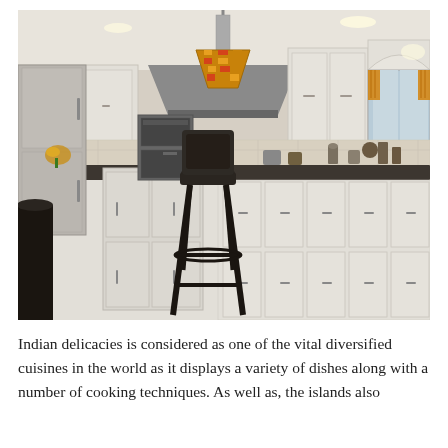[Figure (photo): Interior photo of a large, elegant kitchen with white cabinetry, dark countertops, stainless steel appliances including wall ovens, a kitchen island with a dark bar stool, a Tiffany-style pendant lamp, orange curtains on windows, marble-look tile flooring, and decorative items on the counter.]
Indian delicacies is considered as one of the vital diversified cuisines in the world as it displays a variety of dishes along with a number of cooking techniques. As well as, the islands also